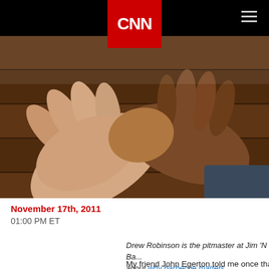CNN
[Figure (photo): Two hands clasped together on a wooden table surface, one lighter-skinned and one darker-skinned, suggesting comfort or condolence.]
November 17th, 2011
01:00 PM ET
Drew Robinson is the pitmaster at Jim 'N Nick's Ba... about why barbecue matters.
My friend John Egerton told me once that sometim... loved one or are in despair all you can do is take th... tell them you're sorry.